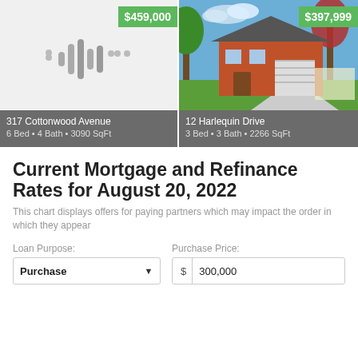[Figure (photo): Listing card for 317 Cottonwood Avenue showing a placeholder with microphone/audio waveform icon, price tag $459,000 in green, address and details on gray bar: 6 Bed • 4 Bath • 3090 SqFt]
[Figure (photo): Listing card for 12 Harlequin Drive showing a photo of a red-brick two-story house with garage and landscaping, price tag $397,999 in green, address and details on gray bar: 3 Bed • 3 Bath • 2266 SqFt]
Current Mortgage and Refinance Rates for August 20, 2022
This chart displays offers for paying partners which may impact the order in which they appear
Loan Purpose: Purchase
Purchase Price: $ 300,000